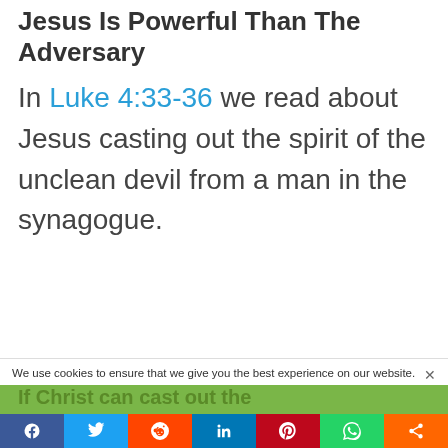Jesus Is Powerful Than The Adversary
In Luke 4:33-36 we read about Jesus casting out the spirit of the unclean devil from a man in the synagogue.
We use cookies to ensure that we give you the best experience on our website.
If Christ can cast out the
Facebook Twitter Reddit LinkedIn Pinterest WhatsApp Share